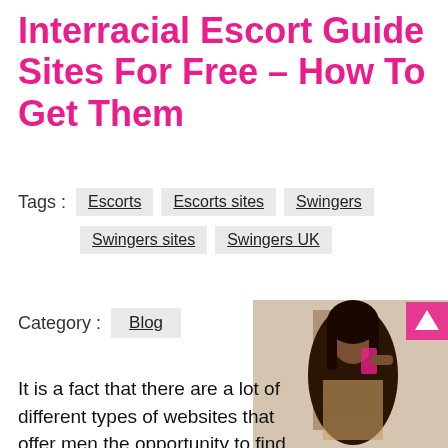Interracial Escort Guide Sites For Free – How To Get Them
Tags :  Escorts  Escorts sites  Swingers  Swingers sites  Swingers UK
Category :  Blog
[Figure (photo): A woman taking a selfie in a mirror, wearing a patterned dress]
It is a fact that there are a lot of different types of websites that offer men the opportunity to find a black or a white woman for whatever purpose they may